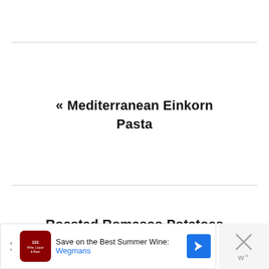« Mediterranean Einkorn Pasta
Roasted Romesco Potatoes
[Figure (other): Advertisement banner: Save on the Best Summer Wines - Wegmans, with a close button on the right]